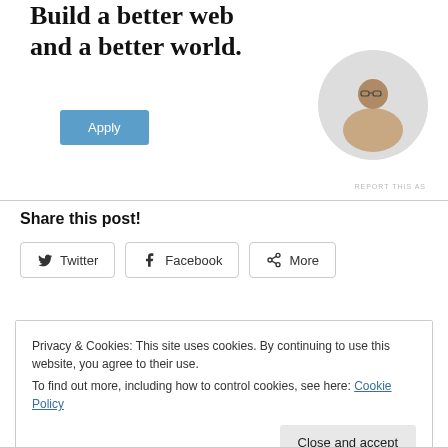Build a better web and a better world.
[Figure (illustration): Person sitting and thinking, shown in a circular cropped photo]
REPORT THIS AS
Share this post!
Twitter | Facebook | More
Privacy & Cookies: This site uses cookies. By continuing to use this website, you agree to their use.
To find out more, including how to control cookies, see here: Cookie Policy